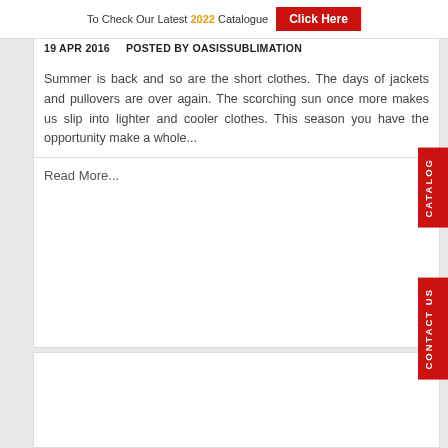To Check Our Latest 2022 Catalogue  Click Here
19 APR 2016     POSTED BY OASISSUBLIMATION
Summer is back and so are the short clothes. The days of jackets and pullovers are over again. The scorching sun once more makes us slip into lighter and cooler clothes. This season you have the opportunity make a whole...
Read More...